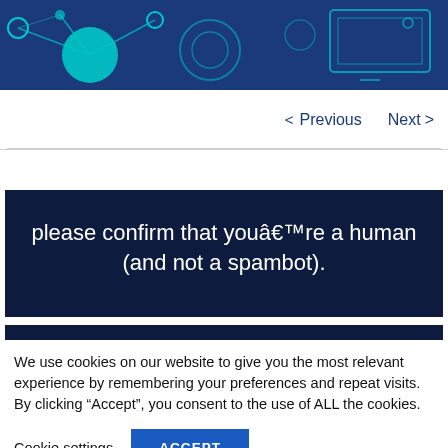[Figure (illustration): Dark blue header banner with teal/cyan network node and circuit diagram graphic and monitor outline on the right side.]
< Previous   Next >
please confirm that youâ€™re a human (and not a spambot).
We use cookies on our website to give you the most relevant experience by remembering your preferences and repeat visits. By clicking “Accept”, you consent to the use of ALL the cookies.
Cookie settings   ACCEPT